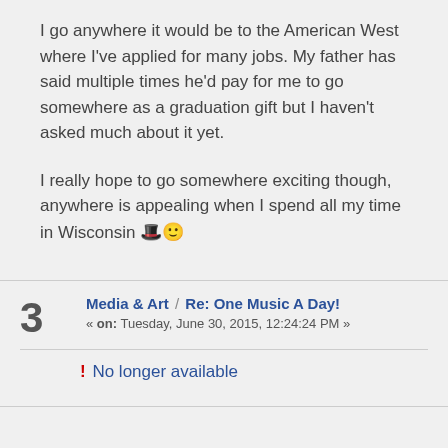I go anywhere it would be to the American West where I've applied for many jobs. My father has said multiple times he'd pay for me to go somewhere as a graduation gift but I haven't asked much about it yet.
I really hope to go somewhere exciting though, anywhere is appealing when I spend all my time in Wisconsin 🎩🙂
Media & Art / Re: One Music A Day!
« on: Tuesday, June 30, 2015, 12:24:24 PM »
! No longer available